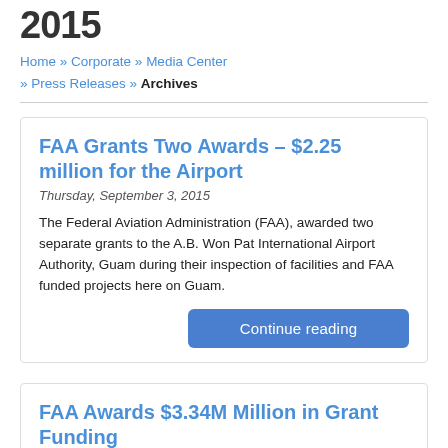2015
Home » Corporate » Media Center » Press Releases » Archives
FAA Grants Two Awards – $2.25 million for the Airport
Thursday, September 3, 2015
The Federal Aviation Administration (FAA), awarded two separate grants to the A.B. Won Pat International Airport Authority, Guam during their inspection of facilities and FAA funded projects here on Guam.
Continue reading
FAA Awards $3.34M Million in Grant Funding